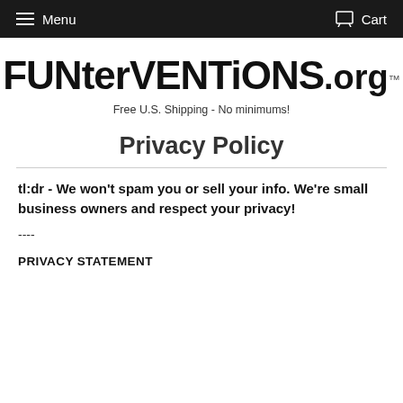Menu  Cart
[Figure (logo): FUNterVENTiONS.org logo in bold quirky font with trademark symbol]
Free U.S. Shipping - No minimums!
Privacy Policy
tl:dr - We won't spam you or sell your info. We're small business owners and respect your privacy!
----
PRIVACY STATEMENT